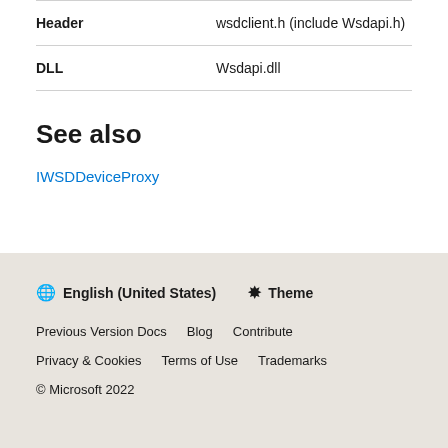| Header | wsdclient.h (include Wsdapi.h) |
| DLL | Wsdapi.dll |
See also
IWSDDeviceProxy
🌐 English (United States)  ☼ Theme
Previous Version Docs  Blog  Contribute
Privacy & Cookies  Terms of Use  Trademarks
© Microsoft 2022